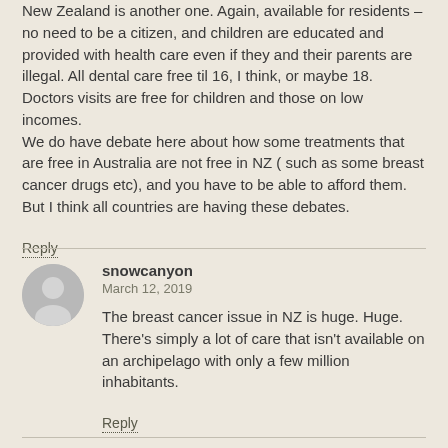New Zealand is another one. Again, available for residents – no need to be a citizen, and children are educated and provided with health care even if they and their parents are illegal. All dental care free til 16, I think, or maybe 18. Doctors visits are free for children and those on low incomes.
We do have debate here about how some treatments that are free in Australia are not free in NZ ( such as some breast cancer drugs etc), and you have to be able to afford them. But I think all countries are having these debates.
Reply
snowcanyon
March 12, 2019
The breast cancer issue in NZ is huge. Huge. There's simply a lot of care that isn't available on an archipelago with only a few million inhabitants.
Reply